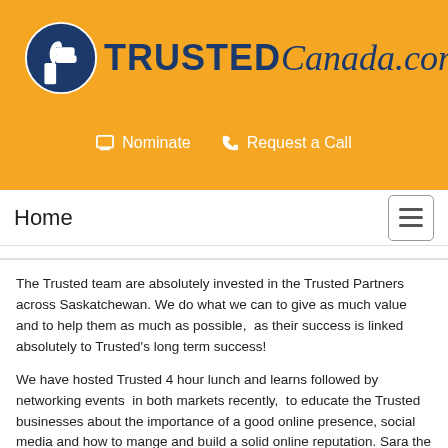[Figure (logo): TrustedCanada.com logo with thumbs-up icon and bold text]
Nominate   Request a Call
Home
The Trusted team are absolutely invested in the Trusted Partners across Saskatchewan. We do what we can to give as much value and to help them as much as possible,  as their success is linked absolutely to Trusted's long term success!
We have hosted Trusted 4 hour lunch and learns followed by networking events  in both markets recently,  to educate the Trusted businesses about the importance of a good online presence, social media and how to mange and build a solid online reputation. Sara the Trusted founder believes that local businesses need to know WHY online is important and she shares her knowledge as an expert in local SEO and marketing with the